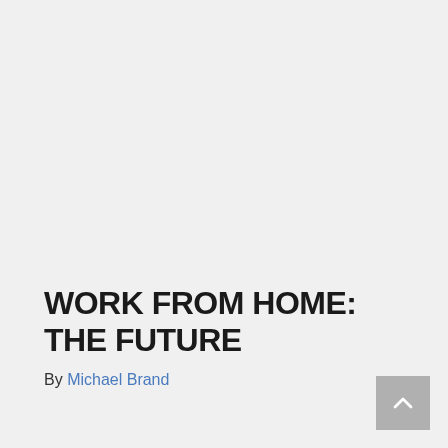WORK FROM HOME: THE FUTURE
By Michael Brand